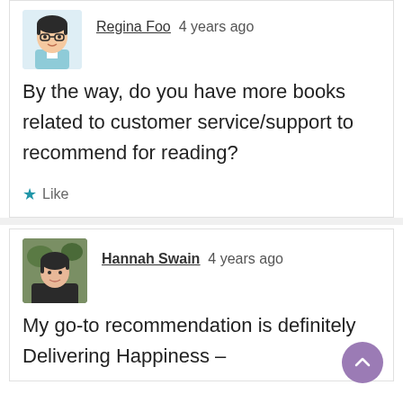[Figure (illustration): Avatar illustration of Regina Foo, cartoon style woman with glasses and short dark hair, light blue top]
Regina Foo   4 years ago
By the way, do you have more books related to customer service/support to recommend for reading?
★ Like
[Figure (photo): Profile photo of Hannah Swain, woman with short dark hair]
Hannah Swain   4 years ago
My go-to recommendation is definitely Delivering Happiness –